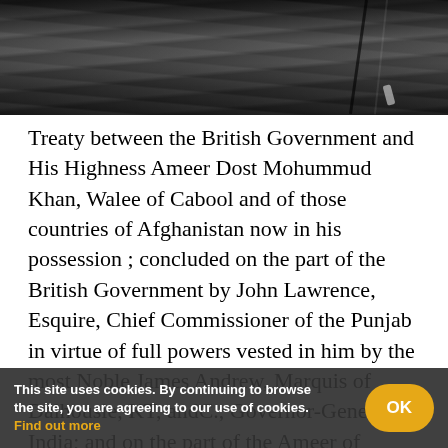[Figure (photo): Black and white photograph showing fabric folds or robes, cropped at top of page]
Treaty between the British Government and His Highness Ameer Dost Mohummud Khan, Walee of Cabool and of those countries of Afghanistan now in his possession ; concluded on the part of the British Government by John Lawrence, Esquire, Chief Commissioner of the Punjab in virtue of full powers vested in him by the most Noble James Andrew, Marquis of Dalhousie, KT, andC., Governor-General of India; and on the part of the Ameer of Cabool, Dost Mohummud Khan by Sirdar Gholam Hydur Khan, in virtue of full authority granted to him by His Heighness, -1855.